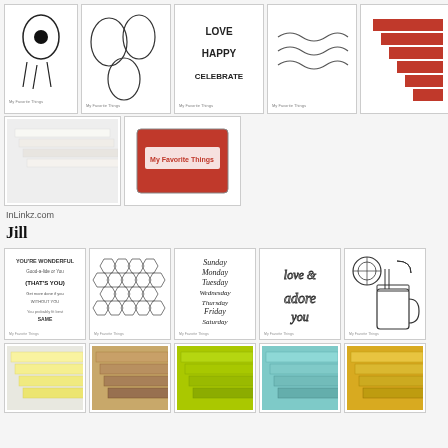[Figure (photo): Grid of craft product thumbnails - stamps, dies, cardstock panels in top section]
InLinkz.com
Jill
[Figure (photo): Grid of craft product thumbnails for Jill section - stamps with text, hexagon background stamp, days of week stamp, love & adore you die, lemonade dies, colored cardstock panels]